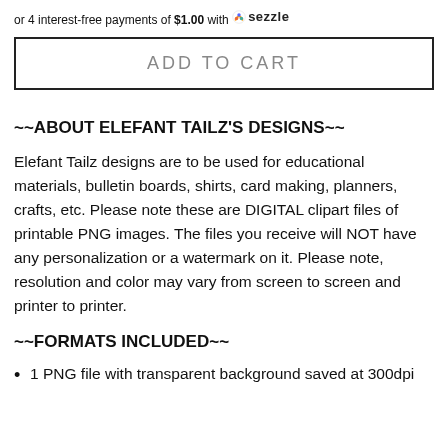or 4 interest-free payments of $1.00 with 🌀 sezzle
ADD TO CART
~~ABOUT ELEFANT TAILZ'S DESIGNS~~
Elefant Tailz designs are to be used for educational materials, bulletin boards, shirts, card making, planners, crafts, etc. Please note these are DIGITAL clipart files of printable PNG images. The files you receive will NOT have any personalization or a watermark on it. Please note, resolution and color may vary from screen to screen and printer to printer.
~~FORMATS INCLUDED~~
1 PNG file with transparent background saved at 300dpi